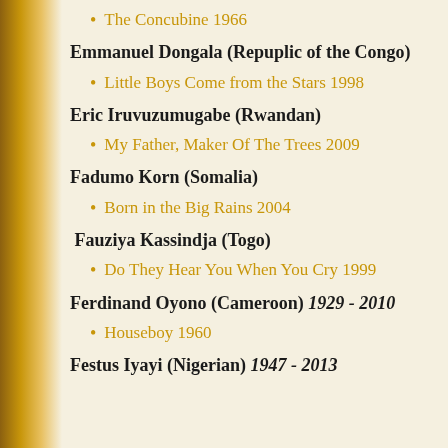The Concubine 1966
Emmanuel Dongala (Repuplic of the Congo)
Little Boys Come from the Stars 1998
Eric Iruvuzumugabe (Rwandan)
My Father, Maker Of The Trees 2009
Fadumo Korn (Somalia)
Born in the Big Rains 2004
Fauziya Kassindja (Togo)
Do They Hear You When You Cry 1999
Ferdinand Oyono (Cameroon) 1929 - 2010
Houseboy 1960
Festus Iyayi (Nigerian) 1947 - 2013